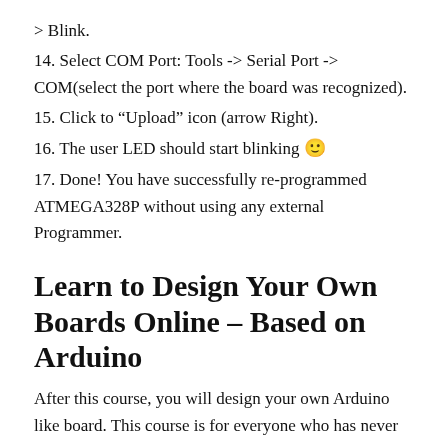> Blink.
14. Select COM Port: Tools -> Serial Port -> COM(select the port where the board was recognized).
15. Click to “Upload” icon (arrow Right).
16. The user LED should start blinking 🙂
17. Done! You have successfully re-programmed ATMEGA328P without using any external Programmer.
Learn to Design Your Own Boards Online – Based on Arduino
After this course, you will design your own Arduino like board. This course is for everyone who has never